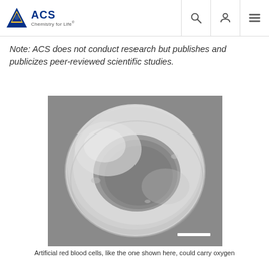ACS Chemistry for Life
Note: ACS does not conduct research but publishes and publicizes peer-reviewed scientific studies.
[Figure (photo): Scanning electron microscope image of an artificial red blood cell showing a biconcave disc shape with a depressed center, in grayscale. A white scale bar is visible in the lower right corner.]
Artificial red blood cells, like the one shown here, could carry oxygen